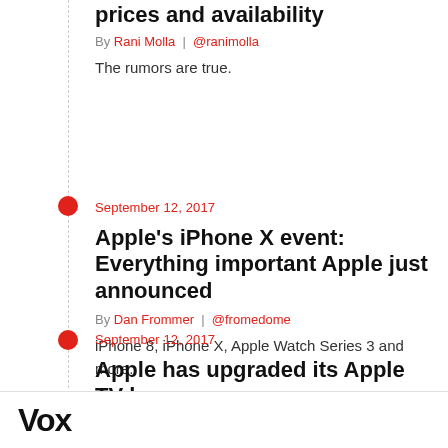prices and availability
By Rani Molla | @ranimolla
The rumors are true.
September 12, 2017
Apple's iPhone X event: Everything important Apple just announced
By Dan Frommer | @fromedome
iPhone 8, iPhone X, Apple Watch Series 3 and more.
September 12, 2017
Apple has upgraded its Apple TV box,
Vox